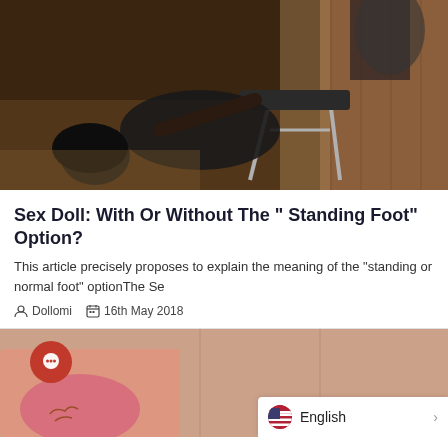[Figure (photo): Photo of a figure lying on the floor posed over a metal chair, wearing dark clothing, in a wooden interior room]
Sex Doll: With Or Without The " Standing Foot" Option?
This article precisely proposes to explain the meaning of the "standing or normal foot" optionThe Se
Dollomi   16th May 2018
[Figure (photo): Partial photo of a figure in pink clothing with tattoos visible, with a red chat bubble icon overlay and an English language selector bar]